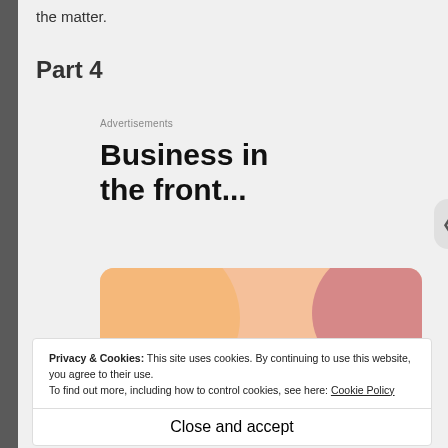the matter.
Part 4
Advertisements
Business in the front...
[Figure (illustration): Advertisement banner with peach/orange gradient circles background and bold serif text reading 'WordPress in the back.']
Privacy & Cookies: This site uses cookies. By continuing to use this website, you agree to their use. To find out more, including how to control cookies, see here: Cookie Policy
Close and accept